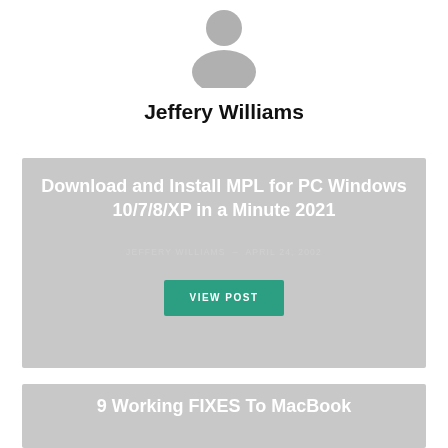[Figure (illustration): Generic user avatar icon — grey silhouette of a person on white background]
Jeffery Williams
[Figure (screenshot): Card with grey background containing post title 'Download and Install MPL for PC Windows 10/7/8/XP in a Minute 2021', author 'JEFFERY WILLIAMS', date 'APRIL 24, 2002', and a teal 'VIEW POST' button]
[Figure (screenshot): Partial card with grey background containing beginning of post title '9 Working FIXES To MacBook']